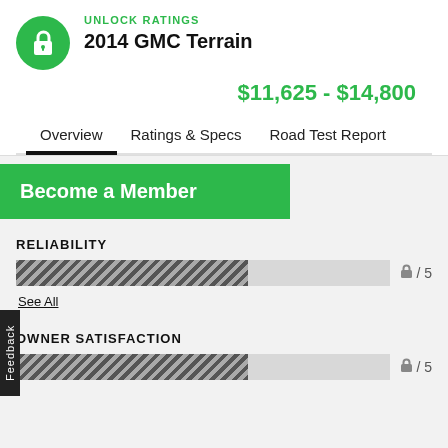UNLOCK RATINGS
2014 GMC Terrain
$11,625 - $14,800
Overview
Ratings & Specs
Road Test Report
Become a Member
RELIABILITY
[Figure (infographic): Partial bar rating graphic with diagonal hatch pattern, locked score showing lock icon and / 5]
See All
OWNER SATISFACTION
[Figure (infographic): Partial bar rating graphic with diagonal hatch pattern, locked score showing lock icon and / 5]